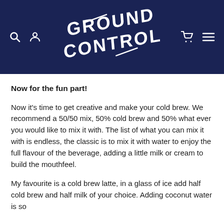[Figure (logo): Ground Control logo in white stylized bold text on dark navy background, with search, user, cart, and menu icons]
Now for the fun part!
Now it’s time to get creative and make your cold brew. We recommend a 50/50 mix, 50% cold brew and 50% what ever you would like to mix it with. The list of what you can mix it with is endless, the classic is to mix it with water to enjoy the full flavour of the beverage, adding a little milk or cream to build the mouthfeel.
My favourite is a cold brew latte, in a glass of ice add half cold brew and half milk of your choice. Adding coconut water is so